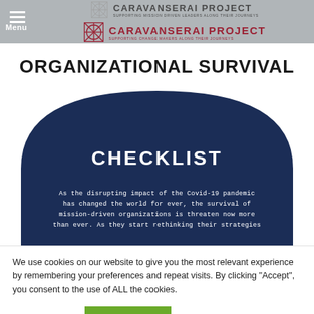Menu | CARAVANSERAI PROJECT — SUPPORTING MISSION DRIVEN LEADERS ALONG THEIR JOURNEYS | CARAVANSERAI PROJECT — SUPPORTING CHANGE MAKERS ALONG THEIR JOURNEYS
ORGANIZATIONAL SURVIVAL
[Figure (illustration): Dark navy blue arch/dome shape with text 'CHECKLIST' in white bold letters at center top area, and body text below reading: As the disrupting impact of the Covid-19 pandemic has changed the world for ever, the survival of mission-driven organizations is threaten now more than ever. As they start rethinking their strategies]
We use cookies on our website to give you the most relevant experience by remembering your preferences and repeat visits. By clicking “Accept”, you consent to the use of ALL the cookies.
Cookie settings
ACCEPT